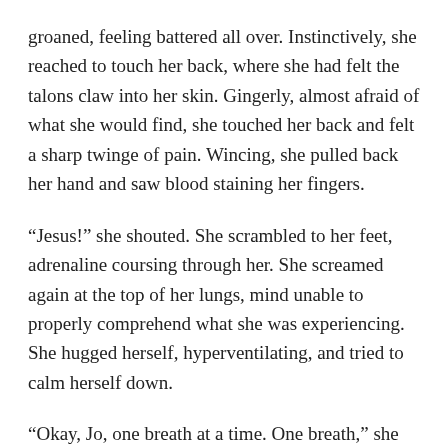groaned, feeling battered all over. Instinctively, she reached to touch her back, where she had felt the talons claw into her skin. Gingerly, almost afraid of what she would find, she touched her back and felt a sharp twinge of pain. Wincing, she pulled back her hand and saw blood staining her fingers.
“Jesus!” she shouted. She scrambled to her feet, adrenaline coursing through her. She screamed again at the top of her lungs, mind unable to properly comprehend what she was experiencing. She hugged herself, hyperventilating, and tried to calm herself down.
“Okay, Jo, one breath at a time. One breath,” she told herself. “Think. What does this mean. What should I do. Okay, let’s go to the bathroom and try to fix this mess.”